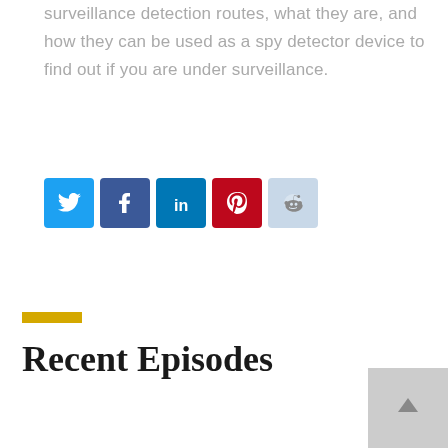surveillance detection routes, what they are, and how they can be used as a spy detector device to find out if you are under surveillance.
[Figure (infographic): Social media sharing icons: Twitter (blue), Facebook (dark blue), LinkedIn (blue), Pinterest (red), Reddit (light blue)]
Recent Episodes